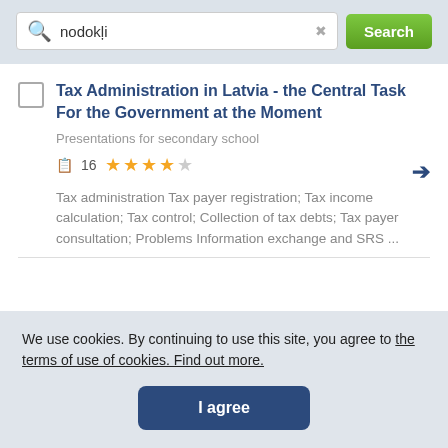[Figure (screenshot): Search bar with magnifying glass icon, text input showing 'nodokļi', clear button, and green Search button]
Tax Administration in Latvia - the Central Task For the Government at the Moment
Presentations for secondary school
16  ★★★★☆
Tax administration Tax payer registration; Tax income calculation; Tax control; Collection of tax debts; Tax payer consultation; Problems Information exchange and SRS ...
We use cookies. By continuing to use this site, you agree to the terms of use of cookies. Find out more.